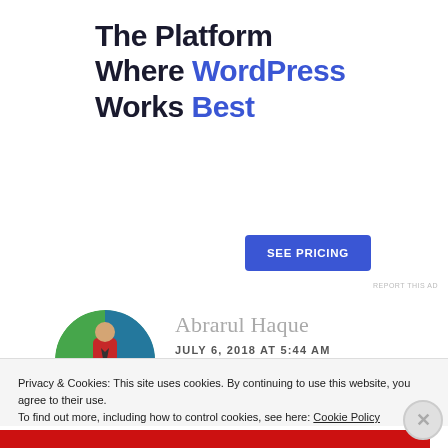The Platform Where WordPress Works Best
SEE PRICING
REPORT THIS AD
Abrarul Haque
JULY 6, 2018 AT 5:44 AM
Privacy & Cookies: This site uses cookies. By continuing to use this website, you agree to their use.
To find out more, including how to control cookies, see here: Cookie Policy
Close and accept